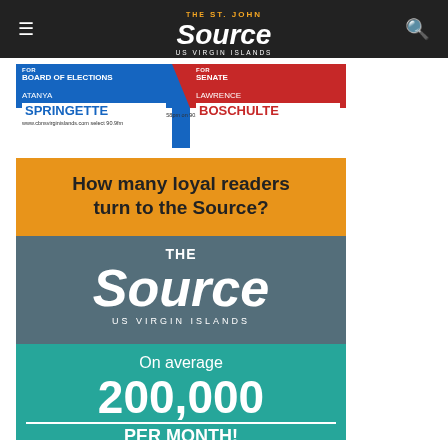The St. John Source – US Virgin Islands
[Figure (infographic): Election campaign advertisement for Atanya Springette for Board of Elections and Lawrence Boschulte for Senate, with radio program info: 'Listen every Monday and Tuesday to Just Government 7-7:58pm on 90.9fm or www.cbnsvirginislands.com select 90.9fm']
[Figure (infographic): The Source US Virgin Islands readership advertisement: 'How many loyal readers turn to the Source? On average 200,000 PER MONTH!']